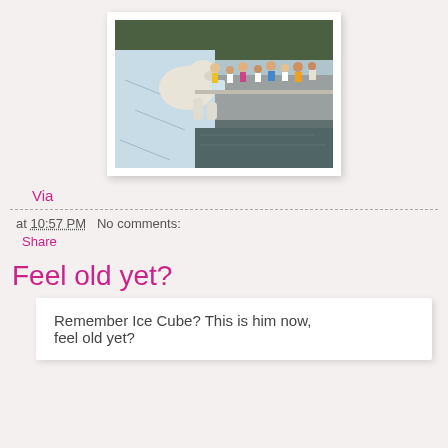[Figure (photo): A polar bear at a zoo, standing on a rocky/icy ledge near a pool, with a crowd of spectators visible in the background behind a barrier.]
Via
at 10:57 PM   No comments:
Share
Feel old yet?
Remember Ice Cube? This is him now, feel old yet?